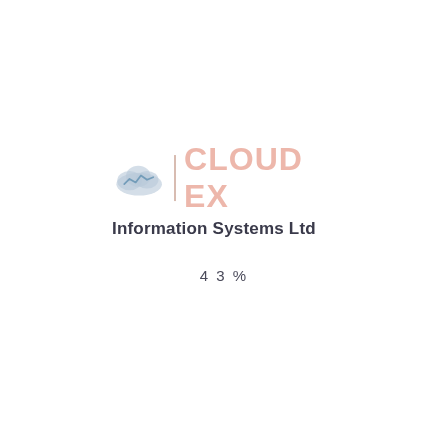[Figure (logo): Cloud EX Information Systems Ltd logo with cloud icon, vertical divider, and brand name]
4 3 %